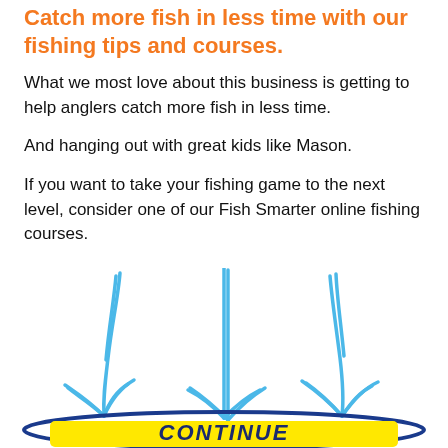Catch more fish in less time with our fishing tips and courses.
What we most love about this business is getting to help anglers catch more fish in less time.
And hanging out with great kids like Mason.
If you want to take your fishing game to the next level, consider one of our Fish Smarter online fishing courses.
[Figure (illustration): Three hand-drawn blue arrows pointing downward toward a yellow button labeled CONTINUE with a blue oval border.]